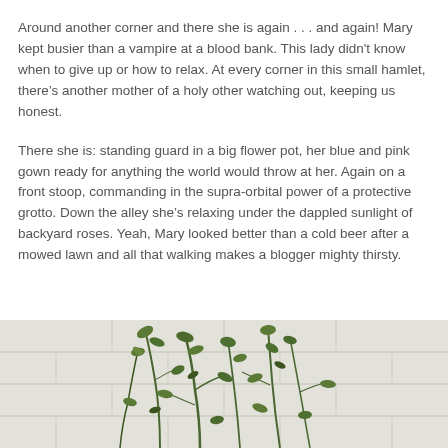Around another corner and there she is again . . . and again! Mary kept busier than a vampire at a blood bank. This lady didn't know when to give up or how to relax. At every corner in this small hamlet, there's another mother of a holy other watching out, keeping us honest.
There she is: standing guard in a big flower pot, her blue and pink gown ready for anything the world would throw at her. Again on a front stoop, commanding in the supra-orbital power of a protective grotto. Down the alley she's relaxing under the dappled sunlight of backyard roses. Yeah, Mary looked better than a cold beer after a mowed lawn and all that walking makes a blogger mighty thirsty.
[Figure (photo): Photo of green leafy plant branches against a white textured stucco/concrete block wall]